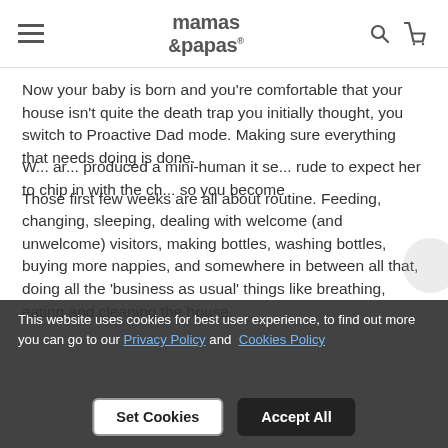mamas & papas — navigation header with hamburger menu, logo, search and cart icons
Now your baby is born and you're comfortable that your house isn't quite the death trap you initially thought, you switch to Proactive Dad mode. Making sure everything that needs doing is done.
Those first few weeks are all about routine. Feeding, changing, sleeping, dealing with welcome (and unwelcome) visitors, making bottles, washing bottles, buying more nappies, and somewhere in between all that, doing all the 'business as usual' things like breathing, eating and cleaning the house.
W... ar... produced a mini-human it se... rude to expect her to chip in with the ch... so you become
This website uses cookies for best user experience, to find out more you can go to our Privacy Policy and Cookies Policy